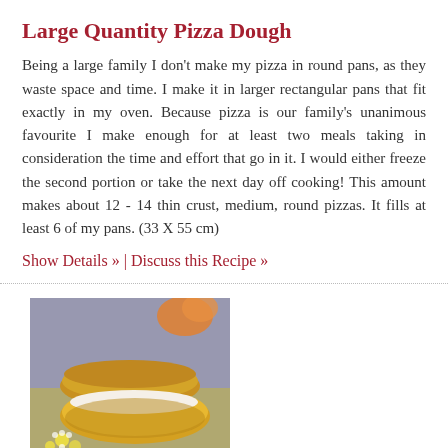Large Quantity Pizza Dough
Being a large family I don't make my pizza in round pans, as they waste space and time.  I make it in larger rectangular pans that fit exactly in my oven.  Because pizza is our family's unanimous favourite I make enough for at least two meals taking in consideration the time and effort that go in it.  I would either freeze the second portion or take the next day off cooking!  This amount makes about 12 - 14 thin crust, medium, round pizzas.  It fills at least 6 of my pans. (33 X 55 cm)
Show Details » | Discuss this Recipe »
[Figure (photo): Photo of a bread or pastry item, possibly a split roll or bread loaf with white filling, on a plate with small flowers, shown from above at an angle.]